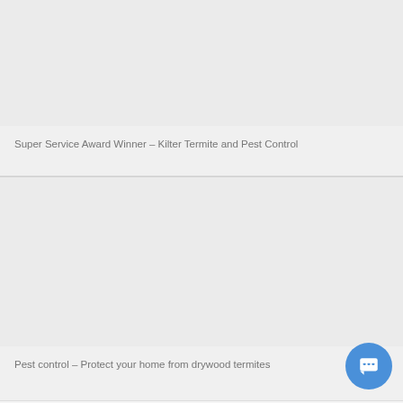[Figure (photo): Placeholder image area for Super Service Award Winner card]
Super Service Award Winner – Kilter Termite and Pest Control
[Figure (photo): Placeholder image area for Pest control card]
Pest control – Protect your home from drywood termites